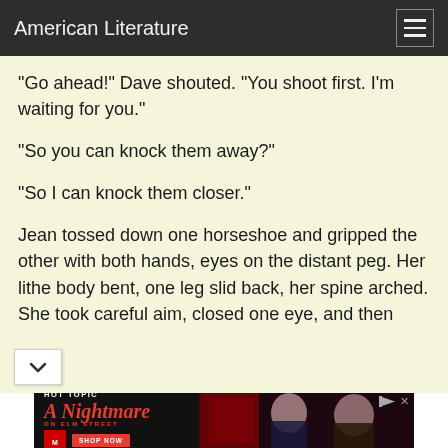American Literature
"Go ahead!" Dave shouted. "You shoot first. I'm waiting for you."
"So you can knock them away?"
"So I can knock them closer."
Jean tossed down one horseshoe and gripped the other with both hands, eyes on the distant peg. Her lithe body bent, one leg slid back, her spine arched. She took careful aim, closed one eye, and then
[Figure (photo): Hot Topic advertisement for A Nightmare on Elm Street merchandise, showing two young people in band/horror merchandise clothing against a dark red curtain background, with SHOP NOW button]